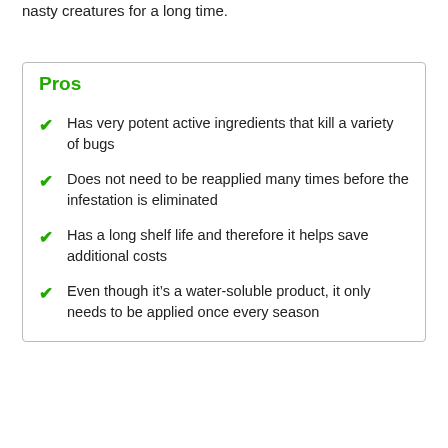nasty creatures for a long time.
Pros
Has very potent active ingredients that kill a variety of bugs
Does not need to be reapplied many times before the infestation is eliminated
Has a long shelf life and therefore it helps save additional costs
Even though it's a water-soluble product, it only needs to be applied once every season